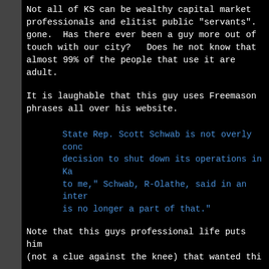Not all of KS can be wealthy capital market professionals and elitist public "servants". gone.  Has there ever been a guy more out of touch with our city?   Does he not know that almost 99% of the people that use it are adult.
It is laughable that this guy uses Freemason phrases all over his website.
State Rep. Scott Schwab is not overly conc decision to shut down its operations in Ka to me," Schwab, R-Olathe, said in an inter is no longer a part of that."
Note that this guys professional life puts him (not a clue against the knee) that wanted thi